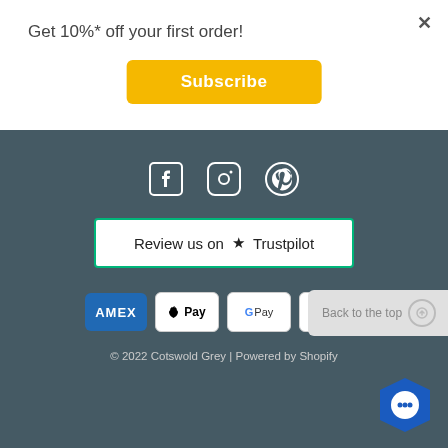Get 10%* off your first order!
[Figure (other): Subscribe button (gold/yellow background)]
[Figure (other): Social media icons: Facebook, Instagram, Pinterest in white on dark blue-grey background]
[Figure (other): Review us on Trustpilot badge with green star]
[Figure (other): Payment icons: Amex, Apple Pay, Google Pay, Mastercard]
[Figure (other): Back to the top button]
© 2022 Cotswold Grey | Powered by Shopify
[Figure (other): Chat support button (blue hexagon with speech bubble)]